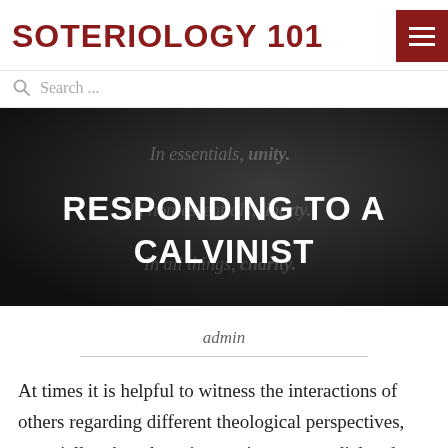SOTERIOLOGY 101
Search ...
[Figure (illustration): Dark banner image with faded text reading 'In essentials, unity.' and 'In all things, charity.' overlaid with large bold white text 'RESPONDING TO A CALVINIST']
admin
At times it is helpful to witness the interactions of others regarding different theological perspectives, especially when those interactions are cordial and focused on the